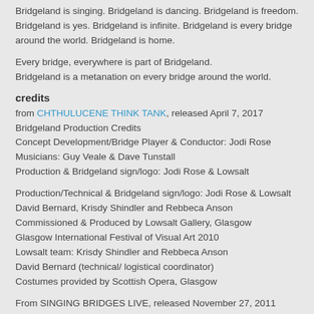Bridgeland is singing. Bridgeland is dancing. Bridgeland is freedom. Bridgeland is yes. Bridgeland is infinite. Bridgeland is every bridge around the world. Bridgeland is home.
Every bridge, everywhere is part of Bridgeland.
Bridgeland is a metanation on every bridge around the world.
credits
from CHTHULUCENE THINK TANK, released April 7, 2017
Bridgeland Production Credits
Concept Development/Bridge Player & Conductor: Jodi Rose
Musicians: Guy Veale & Dave Tunstall
Production & Bridgeland sign/logo: Jodi Rose & Lowsalt
Production/Technical & Bridgeland sign/logo: Jodi Rose & Lowsalt
David Bernard, Krisdy Shindler and Rebbeca Anson
Commissioned & Produced by Lowsalt Gallery, Glasgow
Glasgow International Festival of Visual Art 2010
Lowsalt team: Krisdy Shindler and Rebbeca Anson
David Bernard (technical/ logistical coordinator)
Costumes provided by Scottish Opera, Glasgow
From SINGING BRIDGES LIVE, released November 27, 2011
some rights reserved